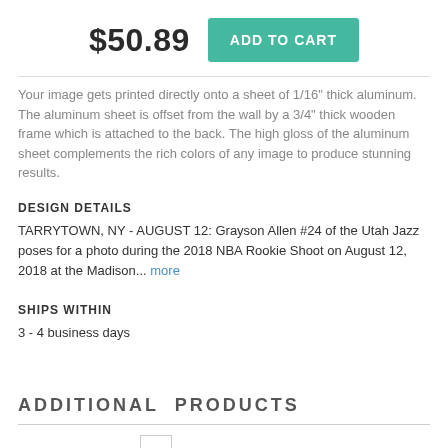$50.89
ADD TO CART
Your image gets printed directly onto a sheet of 1/16" thick aluminum. The aluminum sheet is offset from the wall by a 3/4" thick wooden frame which is attached to the back. The high gloss of the aluminum sheet complements the rich colors of any image to produce stunning results.
DESIGN DETAILS
TARRYTOWN, NY - AUGUST 12: Grayson Allen #24 of the Utah Jazz poses for a photo during the 2018 NBA Rookie Shoot on August 12, 2018 at the Madison... more
SHIPS WITHIN
3 - 4 business days
ADDITIONAL PRODUCTS
[Figure (other): Small placeholder product image thumbnail]